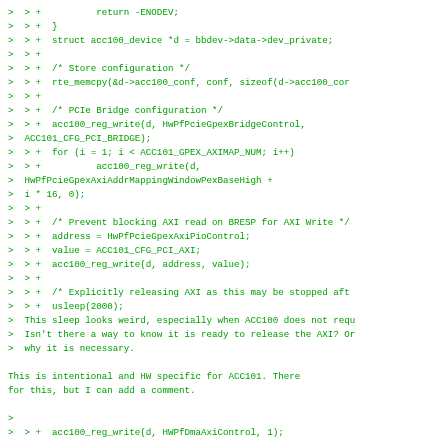Code diff and review comment showing ACC101 PCIe bridge configuration code